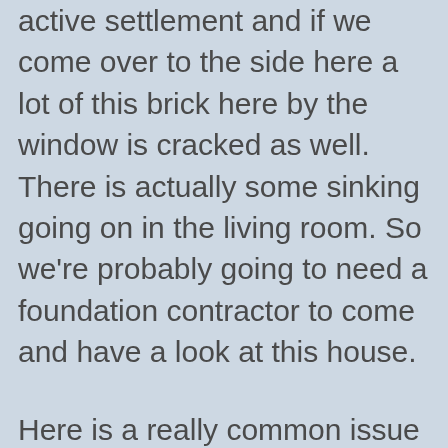active settlement and if we come over to the side here a lot of this brick here by the window is cracked as well. There is actually some sinking going on in the living room. So we're probably going to need a foundation contractor to come and have a look at this house.
Here is a really common issue I find with dishwashers. When you have a stone countertop, you cannot bolt the dishwasher to the counter and so there are no anchors to hold the dishwasher in place and if you push down on the door, look what happens. It actually rolls forward